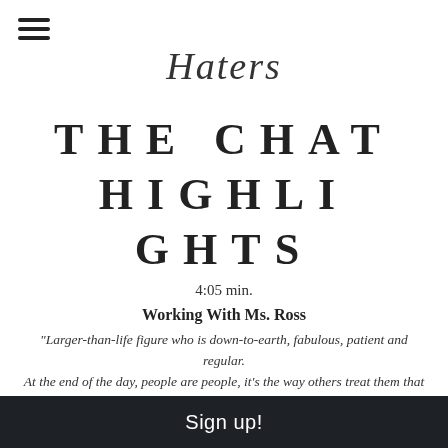Haters
THE CHAT HIGHLIGHTS
4:05 min.
Working With Ms. Ross
"Larger-than-life figure who is down-to-earth, fabulous, patient and regular. At the end of the day, people are people, it's the way others treat them that makes them seem like their different, unapproachable and untouchable."
Sign up!